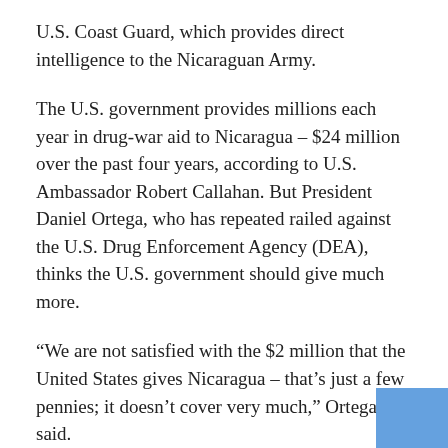U.S. Coast Guard, which provides direct intelligence to the Nicaraguan Army.
The U.S. government provides millions each year in drug-war aid to Nicaragua – $24 million over the past four years, according to U.S. Ambassador Robert Callahan. But President Daniel Ortega, who has repeated railed against the U.S. Drug Enforcement Agency (DEA), thinks the U.S. government should give much more.
“We are not satisfied with the $2 million that the United States gives Nicaragua – that’s just a few pennies; it doesn’t cover very much,” Ortega said.
The president also complained that the aid is conditioned for specific areas and that the DEA “asks favors of us” by asking Nicaragua to stop drug shipments here.